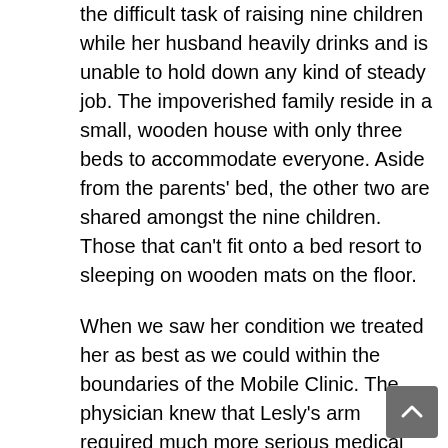the difficult task of raising nine children while her husband heavily drinks and is unable to hold down any kind of steady job. The impoverished family reside in a small, wooden house with only three beds to accommodate everyone. Aside from the parents' bed, the other two are shared amongst the nine children. Those that can't fit onto a bed resort to sleeping on wooden mats on the floor.
When we saw her condition we treated her as best as we could within the boundaries of the Mobile Clinic. The physician knew that Lesly's arm required much more serious medical attention. After finding her mother and explaining to her the gravity of the situation; however,